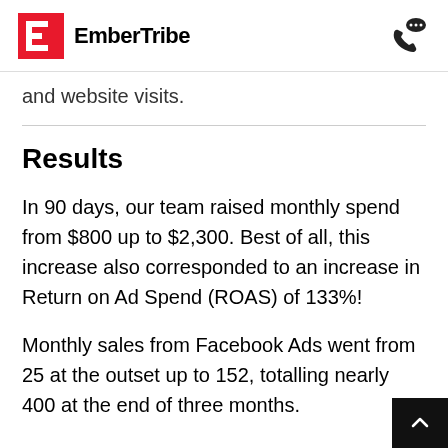EmberTribe
and website visits.
Results
In 90 days, our team raised monthly spend from $800 up to $2,300. Best of all, this increase also corresponded to an increase in Return on Ad Spend (ROAS) of 133%!
Monthly sales from Facebook Ads went from 25 at the outset up to 152, totalling nearly 400 at the end of three months.